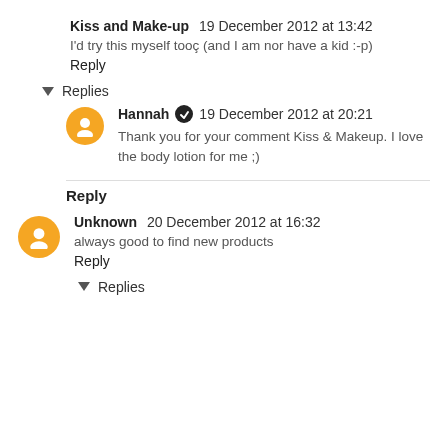Kiss and Make-up  19 December 2012 at 13:42
I'd try this myself tooç (and I am nor have a kid :-p)
Reply
Replies
Hannah  19 December 2012 at 20:21
Thank you for your comment Kiss & Makeup. I love the body lotion for me ;)
Reply
Unknown  20 December 2012 at 16:32
always good to find new products
Reply
Replies